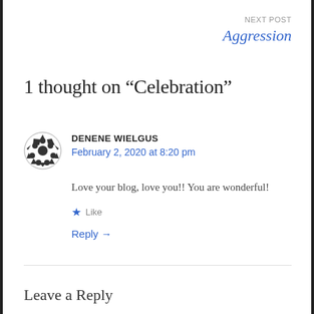NEXT POST
Aggression
1 thought on “Celebration”
DENENE WIELGUS
February 2, 2020 at 8:20 pm
Love your blog, love you!! You are wonderful!
Like
Reply →
Leave a Reply